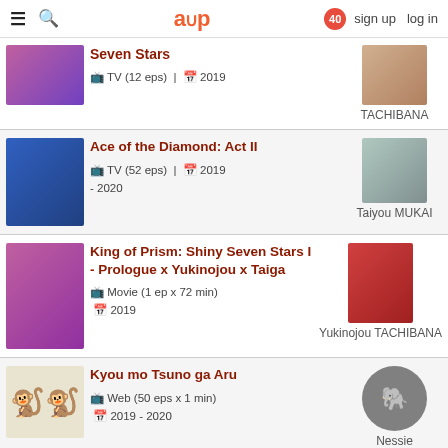≡ 🔍  a∪p  40  sign up  log in
Seven Stars | TV (12 eps) | 2019 | TACHIBANA
Ace of the Diamond: Act II | TV (52 eps) | 2019 - 2020 | Taiyou MUKAI
King of Prism: Shiny Seven Stars I - Prologue x Yukinojou x Taiga | Movie (1 ep x 72 min) | 2019 | Yukinojou TACHIBANA
Kyou mo Tsuno ga Aru | Web (50 eps x 1 min) | 2019 - 2020 | Nessie
Is It Wrong to Try to Pick Up Girls in a Dungeon? Movie... | Hermes